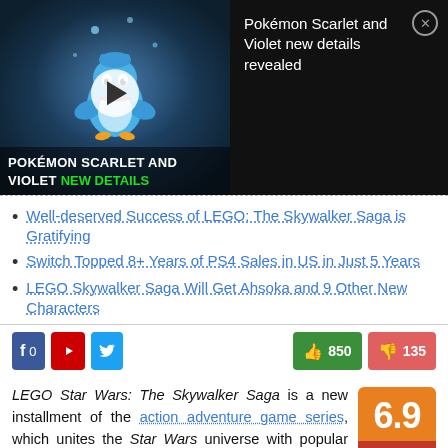[Figure (screenshot): Video thumbnail showing Pokémon Scarlet and Violet with MW Next Level logo and play button. Text overlay: POKÉMON SCARLET AND VIOLET NEW DETAILS. Right side shows title 'Pokémon Scarlet and Violet new details revealed' on dark background with close button.]
Well-deserved Success of LEGO: The Skywalker Saga is Gratifying
Switch Topped 8+ Years of PS4 Sales in US in Just 5 Years
LEGO Skywalker Saga Will Get Ahsoka and 9 Other New Characters
Facebook 0 | YouTube | Twitter | 850 thumbs up | 135 thumbs down
LEGO Star Wars: The Skywalker Saga is a new installment of the action adventure game series, which unites the Star Wars universe with popular LEGO. Game is a sort of final summary of the series and allows to relive the events from three cinematic trilogies from 1977-2019. It was developed by the
[Figure (infographic): Rating box showing 6.9 score with orange background and red 'Rate It' label]